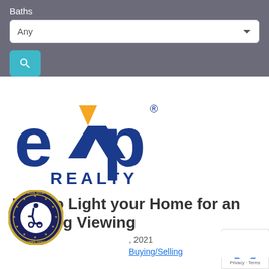Baths
Any
[Figure (logo): eXp Realty logo — blue 'e', orange/blue 'X', blue 'p', and 'REALTY' text in blue]
How to Light your Home for an Evening Viewing
, 2021
Buying/Selling
[Figure (logo): ADA Site Compliance badge — circular gold/navy seal with wheelchair accessibility icon]
[Figure (logo): reCAPTCHA badge with Privacy - Terms text]